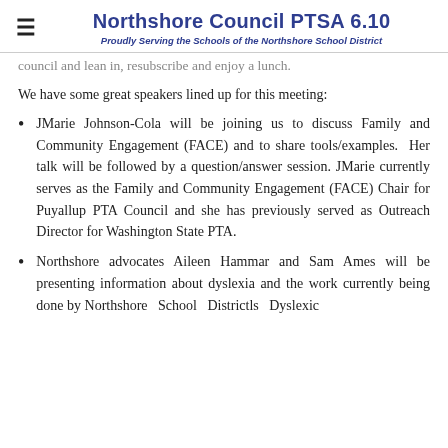Northshore Council PTSA 6.10 — Proudly Serving the Schools of the Northshore School District
council and lean in, resubscribe and enjoy a lunch.
We have some great speakers lined up for this meeting:
JMarie Johnson-Cola will be joining us to discuss Family and Community Engagement (FACE) and to share tools/examples. Her talk will be followed by a question/answer session. JMarie currently serves as the Family and Community Engagement (FACE) Chair for Puyallup PTA Council and she has previously served as Outreach Director for Washington State PTA.
Northshore advocates Aileen Hammar and Sam Ames will be presenting information about dyslexia and the work currently being done by Northshore School Districtls Dyslexia